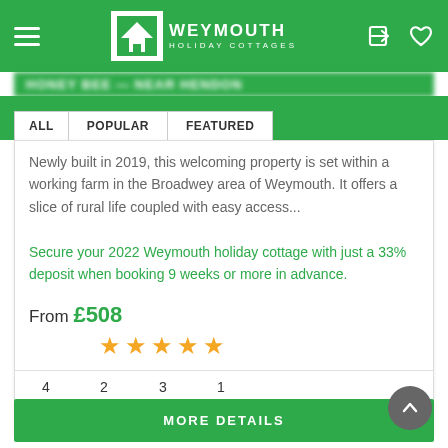[Figure (screenshot): Weymouth Holiday Cottages website header with green navigation bar, logo, hamburger menu, login and heart icons]
[Figure (screenshot): Navigation tab bar with ALL, POPULAR, FEATURED tabs on green background]
Newly built in 2019, this welcoming property is set within a working farm in the Broadwey area of Weymouth. It offers a slice of rural life coupled with easy access...
Secure your 2022 Weymouth holiday cottage with just a 33% deposit when booking 9 weeks or more in advance.
From £508
[Figure (other): 5 orange/gold star rating icons]
4 guests, 2 bedrooms, 3 bathrooms, 1 dog allowed icons
MORE DETAILS